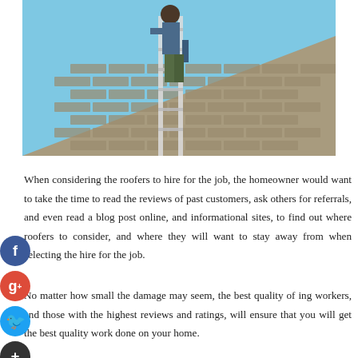[Figure (photo): A roofer working on a sloped shingle roof, climbing with tools, blue sky background]
When considering the roofers to hire for the job, the homeowner would want to take the time to read the reviews of past customers, ask others for referrals, and even read a blog post online, and informational sites, to find out where roofers to consider, and where they will want to stay away from when selecting the hire for the job.
No matter how small the damage may seem, the best quality of ing workers, and those with the highest reviews and ratings, will ensure that you will get the best quality work done on your home.
In choosing a roofer, you must also consider licensing, proper documentation, and make sure that the company is certified to do